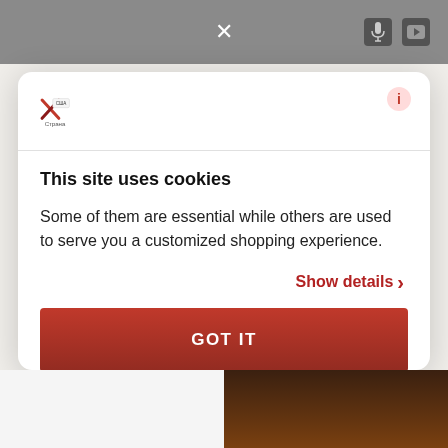[Figure (screenshot): Cookie consent modal overlay on a website. The modal shows 'This site uses cookies' with explanatory text, a 'Show details' link, a 'GOT IT' button, and 'Powered by Cookiebot by Usercentrics' footer. Behind the modal is a website with a logo and ghost/watermark Hebrew calendar text.]
This site uses cookies
Some of them are essential while others are used to serve you a customized shopping experience.
Show details
GOT IT
Powered by Cookiebot by Usercentrics